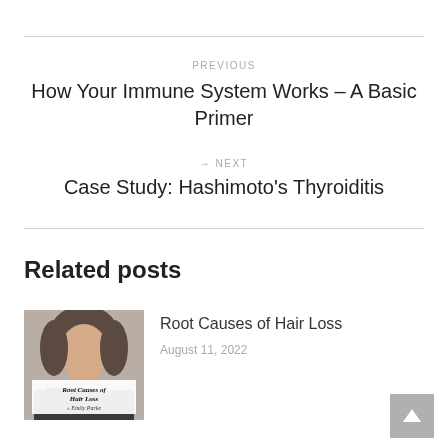PREVIOUS
How Your Immune System Works – A Basic Primer
→ NEXT
Case Study: Hashimoto's Thyroiditis
Related posts
[Figure (photo): Thumbnail image for 'Root Causes of Hair Loss' blog post showing a woman holding a hairbrush, with overlay text 'Root Causes of Hair Loss by Emily Parke']
Root Causes of Hair Loss
August 11, 2022